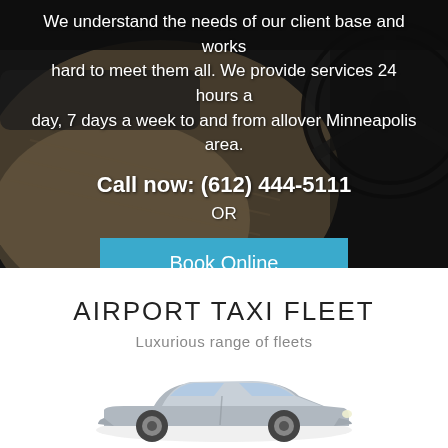[Figure (photo): Dark interior of a luxury car viewed from back seat, showing steering wheel, dashboard, and beige leather seat, used as hero background image]
We understand the needs of our client base and works hard to meet them all. We provide services 24 hours a day, 7 days a week to and from allover Minneapolis area.
Call now: (612) 444-5111
OR
Book Online
AIRPORT TAXI FLEET
Luxurious range of fleets
[Figure (photo): A silver/grey luxury sedan car photographed from a low front-quarter angle on a white background]